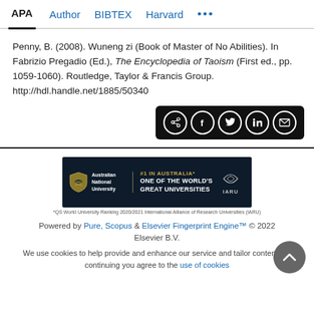APA | Author | BIBTEX | Harvard | ...
Penny, B. (2008). Wuneng zi (Book of Master of No Abilities). In Fabrizio Pregadio (Ed.), The Encyclopedia of Taoism (First ed., pp. 1059-1060). Routledge, Taylor & Francis Group. http://hdl.handle.net/1885/50340
[Figure (infographic): Black share bar with social media icons: share, Facebook, Twitter, LinkedIn, email]
[Figure (logo): Australian National University banner: #1 in Australia, One of the World's Great Universities, IARU logo]
*QS World University Ranking 2020/2021 International Alliance of Research Universities (IARU)
Powered by Pure, Scopus & Elsevier Fingerprint Engine™ © 2022 Elsevier B.V.
We use cookies to help provide and enhance our service and tailor content. By continuing you agree to the use of cookies